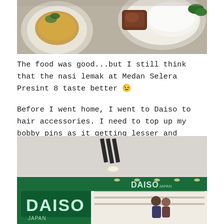[Figure (photo): Top portion of photo showing two plates of food on a table — one with nasi lemak rice and side dishes, another with a soup/curry dish]
The food was good...but I still think that the nasi lemak at Medan Selera Presint 8 taste better 😉

Before I went home, I went to Daiso to hair accessories. I need to top up my bobby pins as it getting lesser and lesser.
[Figure (photo): Photo of the exterior of a Daiso Japan store in a shopping mall, showing the green signage with DAISO JAPAN branding, bright interior with product shelves visible]